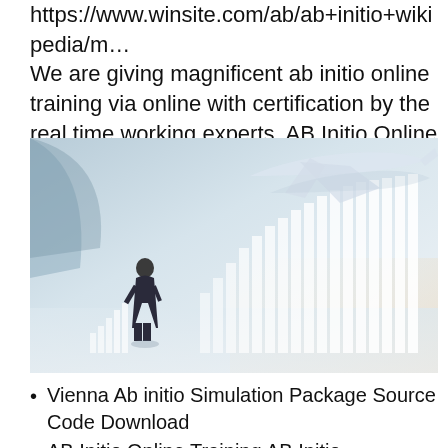https://www.winsite.com/ab/ab+initio+wikipedia/m… We are giving magnificent ab initio online training via online with certification by the real time working experts. AB Initio Online Training with Free tutorials..
[Figure (photo): A businessman in a suit standing and looking at a large airplane flying above glowing bar charts in a bright, futuristic interior setting.]
Vienna Ab initio Simulation Package Source Code Download
AB Initio Online Training AB Initio